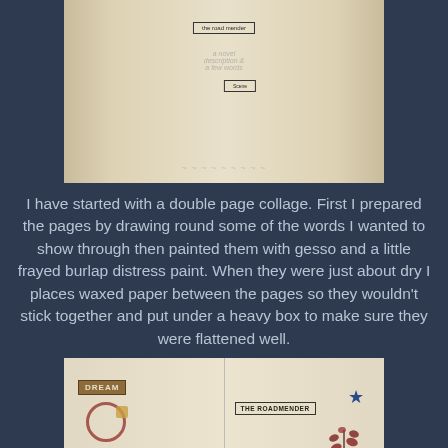[Figure (photo): Photograph of an open book or journal with aged/cream pages. Two small rectangular label boxes are visible on the pages - one near the top center and one slightly below center. The pages appear weathered with faint text and markings. The bottom edge shows a decorative wavy pattern.]
I have started with a double page collage. First I prepared the pages by drawing round some of the words I wanted to show through then painted them with gesso and a little frayed burlap distress paint. When they were just about dry I places waxed paper between the pages so they wouldn't stick together and put under a heavy box to make sure they were flattened well.
[Figure (photo): Photograph of an open journal/book spread showing a collage. Left page has a 'DREAM' label tag in brown/tan, a red circular emblem, and a small golden item. Right page shows 'THE ROADMENDER' in a rectangular label box, a blue star, and pressed floral/botanical elements in dark red/maroon colors.]